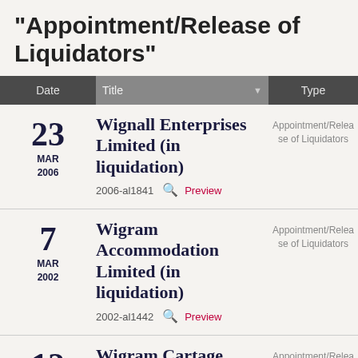"Appointment/Release of Liquidators"
| Date | Title | Type |
| --- | --- | --- |
| 23 MAR 2006 | Wignall Enterprises Limited (in liquidation)
2006-al1841 Preview | Appointment/Release of Liquidators |
| 7 MAR 2002 | Wigram Accommodation Limited (in liquidation)
2002-al1442 Preview | Appointment/Release of Liquidators |
| 12 | Wigram Cartage | Appointment/Relea... |